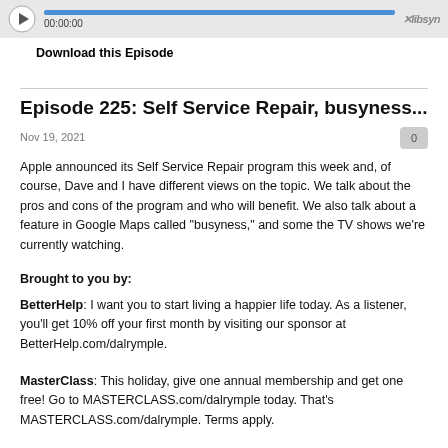[Figure (other): Audio player bar with play button, progress bar filled in blue, timestamp 00:00:00, and Libsyn logo]
Download this Episode
Episode 225: Self Service Repair, busyness...
Nov 19, 2021
Apple announced its Self Service Repair program this week and, of course, Dave and I have different views on the topic. We talk about the pros and cons of the program and who will benefit. We also talk about a feature in Google Maps called "busyness," and some the TV shows we're currently watching.
Brought to you by:
BetterHelp: I want you to start living a happier life today. As a listener, you'll get 10% off your first month by visiting our sponsor at BetterHelp.com/dalrymple.
MasterClass: This holiday, give one annual membership and get one free! Go to MASTERCLASS.com/dalrymple today. That's MASTERCLASS.com/dalrymple. Terms apply.